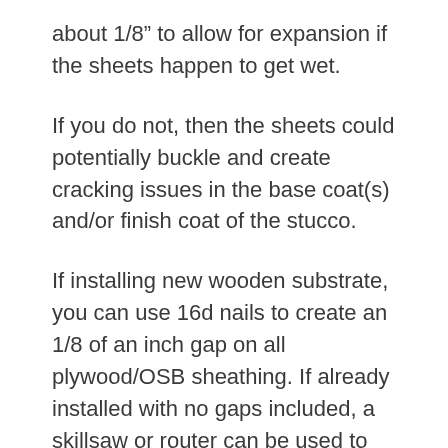about 1/8” to allow for expansion if the sheets happen to get wet.
If you do not, then the sheets could potentially buckle and create cracking issues in the base coat(s) and/or finish coat of the stucco.
If installing new wooden substrate, you can use 16d nails to create an 1/8 of an inch gap on all plywood/OSB sheathing. If already installed with no gaps included, a skillsaw or router can be used to create